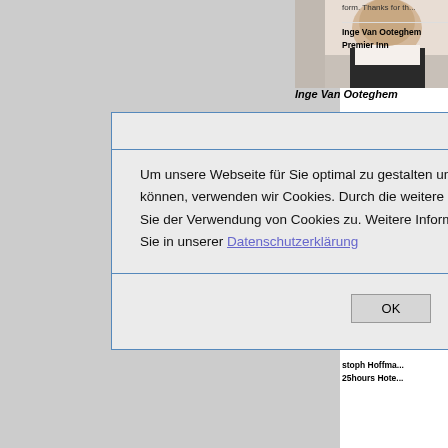[Figure (photo): Headshot of Inge Van Ooteghem, a woman in a dark jacket with white collar, cropped at top of page]
Inge Van Ooteghem
form. Thanks for th...
Inge Van Ooteghem
Premier Inn
hospitalityInside is...
ver the last fe...
ting on 25hou...
al, but always t...
Maria Pütz-Wi...
ut saying that...
assments of the...
stoph Hoffma...
25hours Hote...
[Figure (screenshot): Cookie consent modal dialog overlaid on webpage. Contains German text about cookie usage and a Datenschutzerklärung link, with OK button.]
Um unsere Webseite für Sie optimal zu gestalten und fortlaufend verbessern zu können, verwenden wir Cookies. Durch die weitere Nutzung der Webseite stimmen Sie der Verwendung von Cookies zu. Weitere Informationen zu Cookies erhalten Sie in unserer Datenschutzerklärung
X
OK
Christoph Hoffmann
[Figure (photo): Headshot of Christoph Hoffmann, a man with glasses and dark hair]
"hospitalityInside.co...
picked up and treat...
very good journalis...
Especially in today'...
important factor in t...